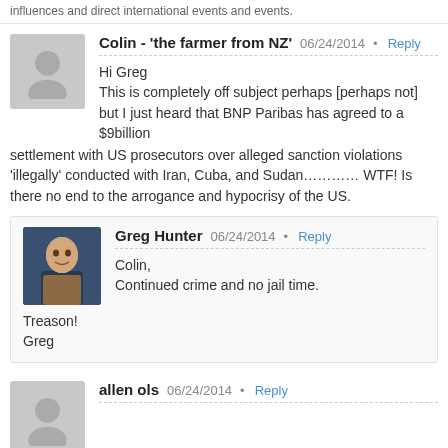influences and direct international events and events.
Colin - 'the farmer from NZ'  06/24/2014  •  Reply
Hi Greg
This is completely off subject perhaps [perhaps not] but I just heard that BNP Paribas has agreed to a $9billion settlement with US prosecutors over alleged sanction violations 'illegally' conducted with Iran, Cuba, and Sudan………… WTF! Is there no end to the arrogance and hypocrisy of the US.
Greg Hunter  06/24/2014  •  Reply
Colin,
Continued crime and no jail time.
Treason!
Greg
allen ols  06/24/2014  •  Reply